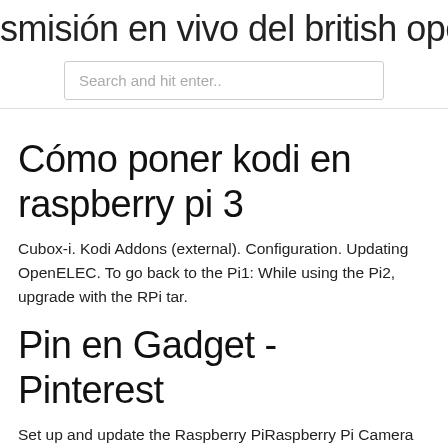smisión en vivo del british open golf
Search and hit enter..
Cómo poner kodi en raspberry pi 3
Cubox-i. Kodi Addons (external). Configuration. Updating OpenELEC. To go back to the Pi1: While using the Pi2, upgrade with the RPi tar.
Pin en Gadget - Pinterest
Set up and update the Raspberry PiRaspberry Pi Camera configuration Build your own KODI Internet radio with a Raspberry Pi and touchscreen. As with all Raspberry Pi (RPi) projects, we start by installing an operating system. To make